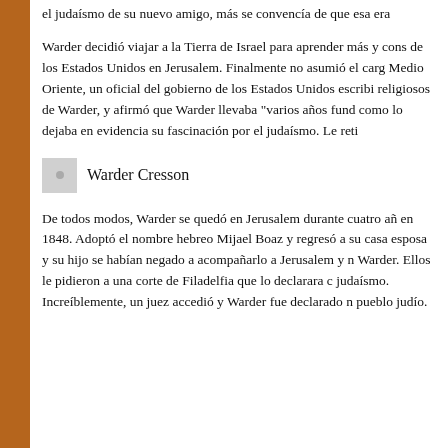el judaísmo de su nuevo amigo, más se convencía de que esa era
Warder decidió viajar a la Tierra de Israel para aprender más y cons de los Estados Unidos en Jerusalem. Finalmente no asumió el carg Medio Oriente, un oficial del gobierno de los Estados Unidos escribi religiosos de Warder, y afirmó que Warder llevaba "varios años fund como lo dejaba en evidencia su fascinación por el judaísmo. Le reti
[Figure (photo): Small person thumbnail/avatar image placeholder (gray square with dot)]
Warder Cresson
De todos modos, Warder se quedó en Jerusalem durante cuatro añ en 1848. Adoptó el nombre hebreo Mijael Boaz y regresó a su casa esposa y su hijo se habían negado a acompañarlo a Jerusalem y n Warder. Ellos le pidieron a una corte de Filadelfia que lo declarara c judaísmo. Increíblemente, un juez accedió y Warder fue declarado n pueblo judío.
Privacy & Cookies: This site uses cookies. By continuing to use this website, you agree to their use.
To find out more, including how to control cookies, see here: Cookie Policy
Close and accept